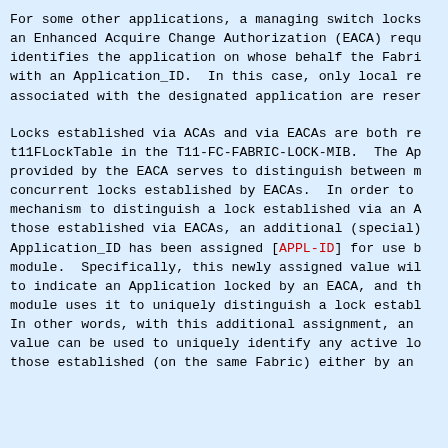For some other applications, a managing switch locks an Enhanced Acquire Change Authorization (EACA) requ identifies the application on whose behalf the Fabri with an Application_ID.  In this case, only local re associated with the designated application are reser
Locks established via ACAs and via EACAs are both re t11FLockTable in the T11-FC-FABRIC-LOCK-MIB.  The Ap provided by the EACA serves to distinguish between m concurrent locks established by EACAs.  In order to  mechanism to distinguish a lock established via an A those established via EACAs, an additional (special)  Application_ID has been assigned [APPL-ID] for use b module.  Specifically, this newly assigned value wil to indicate an Application locked by an EACA, and th module uses it to uniquely distinguish a lock establ In other words, with this additional assignment, an  value can be used to uniquely identify any active lo those established (on the same Fabric) either by an